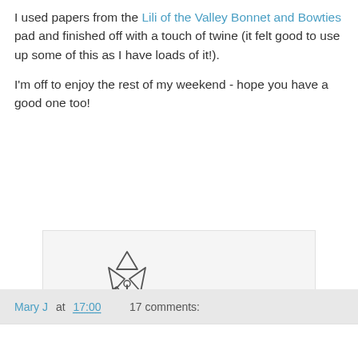I used papers from the Lili of the Valley Bonnet and Bowties pad and finished off with a touch of twine (it felt good to use up some of this as I have loads of it!).
I'm off to enjoy the rest of my weekend - hope you have a good one too!
[Figure (illustration): Hand-drawn signature logo: a stylized pinwheel/windmill flower on a stem with a small leaf, next to handwritten cursive text reading 'Mary J']
Mary J at 17:00    17 comments: